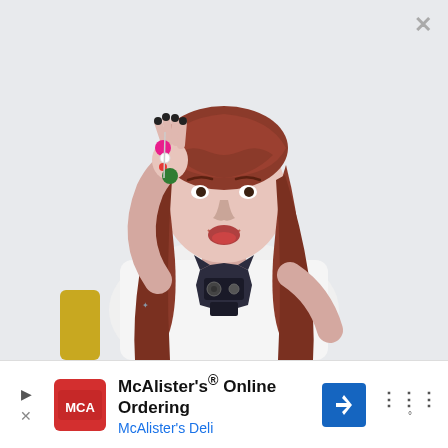[Figure (photo): A woman with long red-brown hair, wearing a white t-shirt with a black cat/boombox graphic, holding up small colorful charms (pink, green) between her fingers. She is looking at the camera with a surprised/expressive face. Light gray background. A close (X) button is visible in the top right corner.]
[Figure (other): Advertisement bar at bottom: McAlister's Online Ordering ad with play button, X close button, red MCA logo, navigation arrow icon, and menu icon. Text: McAlister's® Online Ordering / McAlister's Deli]